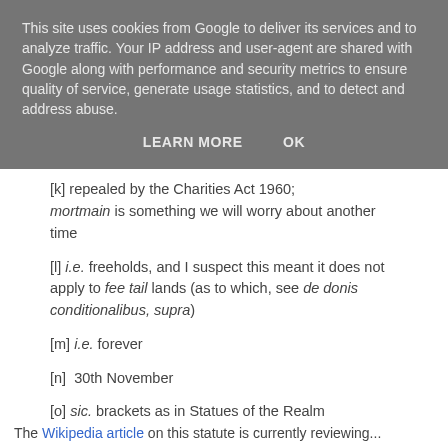This site uses cookies from Google to deliver its services and to analyze traffic. Your IP address and user-agent are shared with Google along with performance and security metrics to ensure quality of service, generate usage statistics, and to detect and address abuse.
LEARN MORE    OK
[k] repealed by the Charities Act 1960; mortmain is something we will worry about another time
[l] i.e. freeholds, and I suspect this meant it does not apply to fee tail lands (as to which, see de donis conditionalibus, supra)
[m] i.e. forever
[n]  30th November
[o] sic. brackets as in Statues of the Realm
The Wikipedia article on this statute is currently reviewing...